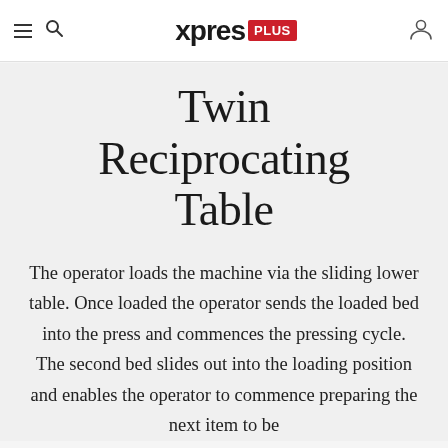xpres PLUS
Twin Reciprocating Table
The operator loads the machine via the sliding lower table. Once loaded the operator sends the loaded bed into the press and commences the pressing cycle. The second bed slides out into the loading position and enables the operator to commence preparing the next item to be